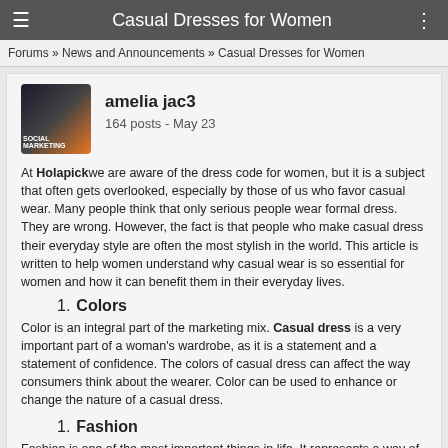Casual Dresses for Women
Forums » News and Announcements » Casual Dresses for Women
amelia jac3
164 posts - May 23
At Holapick we are aware of the dress code for women, but it is a subject that often gets overlooked, especially by those of us who favor casual wear. Many people think that only serious people wear formal dress. They are wrong. However, the fact is that people who make casual dress their everyday style are often the most stylish in the world. This article is written to help women understand why casual wear is so essential for women and how it can benefit them in their everyday lives.
1. Colors
Color is an integral part of the marketing mix. Casual dress is a very important part of a woman's wardrobe, as it is a statement and a statement of confidence. The colors of casual dress can affect the way consumers think about the wearer. Color can be used to enhance or change the nature of a casual dress.
1. Fashion
Fashion is one of the most important things in life. It represents a way of life and it is a sense of fashion that can define the value of your life, as well as the value of other people in your life. Style is often an expression of individual taste, and for women, it is particularly important. Women's style is a reflection of the value of their life and the value of their relationships.
1. Comfort